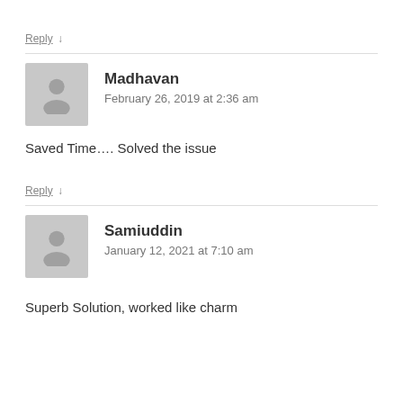Reply ↓
Madhavan
February 26, 2019 at 2:36 am
Saved Time…. Solved the issue
Reply ↓
Samiuddin
January 12, 2021 at 7:10 am
Superb Solution, worked like charm